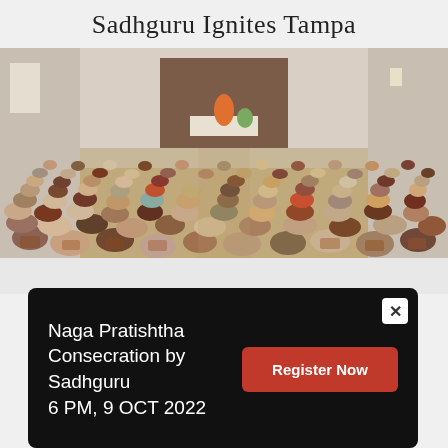Sadhguru Ignites Tampa
[Figure (photo): A large indoor event hall filled with hundreds of seated attendees viewed from behind, facing a speaker on a stage at the far end of the room.]
Naga Pratishtha Consecration by Sadhguru
6 PM, 9 OCT 2022
[Figure (other): Register Now button (red/orange rounded rectangle)]